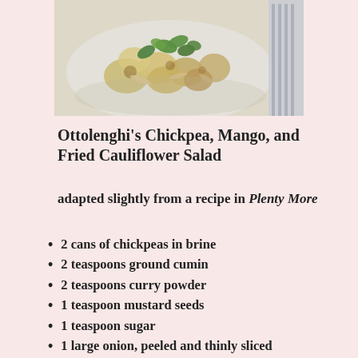[Figure (photo): Overhead photo of a plate of Chickpea, Mango, and Fried Cauliflower Salad with green herbs on top, served on a white plate with a fork visible on the right side.]
Ottolenghi's Chickpea, Mango, and Fried Cauliflower Salad
adapted slightly from a recipe in Plenty More
2 cans of chickpeas in brine
2 teaspoons ground cumin
2 teaspoons curry powder
1 teaspoon mustard seeds
1 teaspoon sugar
1 large onion, peeled and thinly sliced
indiscriminate quantities of olive oil (not extra virgin) or other neutral oil for frying